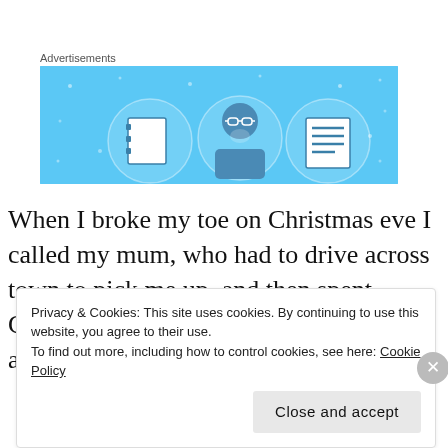[Figure (illustration): Advertisement banner with light blue background showing three circular icons: a notebook, a person with glasses, and a lined document, styled in a flat design illustration style.]
When I broke my toe on Christmas eve I called my mum, who had to drive across town to pick me up, and then spent Christmas to New Years taxiing me around
Privacy & Cookies: This site uses cookies. By continuing to use this website, you agree to their use.
To find out more, including how to control cookies, see here: Cookie Policy
Close and accept